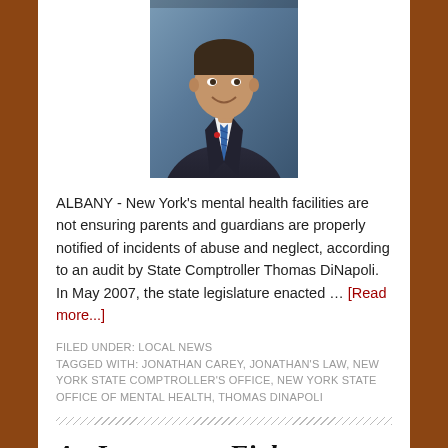[Figure (photo): Headshot photo of a man in a dark suit with a blue striped tie, smiling, against a blue-grey background]
ALBANY - New York's mental health facilities are not ensuring parents and guardians are properly notified of incidents of abuse and neglect, according to an audit by State Comptroller Thomas DiNapoli. In May 2007, the state legislature enacted … [Read more...]
FILED UNDER: LOCAL NEWS
TAGGED WITH: JONATHAN CAREY, JONATHAN'S LAW, NEW YORK STATE COMPTROLLER'S OFFICE, NEW YORK STATE OFFICE OF MENTAL HEALTH, THOMAS DINAPOLI
As Jamestown Fights